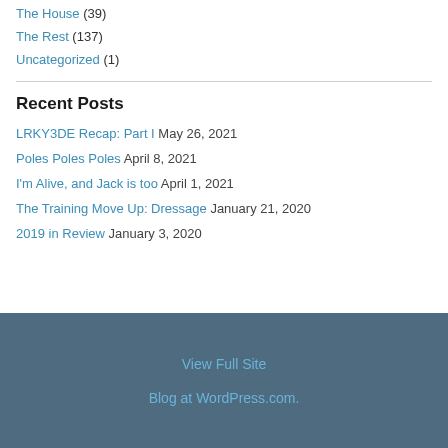The House (39)
The Rest (137)
Uncategorized (1)
Recent Posts
LRKY3DE Recap: Part I  May 26, 2021
Poles Poles Poles  April 8, 2021
I'm Alive, and Jack is too  April 1, 2021
The Training Move Up: Dressage  January 21, 2020
2019 in Review  January 3, 2020
View Full Site
Blog at WordPress.com.